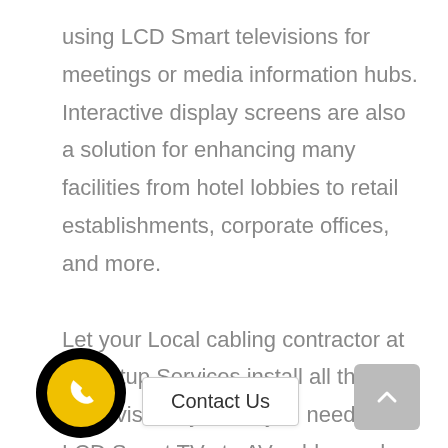using LCD Smart televisions for meetings or media information hubs. Interactive display screens are also a solution for enhancing many facilities from hotel lobbies to retail establishments, corporate offices, and more.

Let your Local cabling contractor at TV setup Services install all the audiovisual systems you need, from LCD Smart TVs to AV cables and surround sound systems, to ensure an optimum experience. Call us today at 0800 0132341 to discuss your audiovisual installation project.
[Figure (other): Black circle with yellow phone icon and 'Contact Us' button overlay, plus a grey scroll-to-top button on the right]